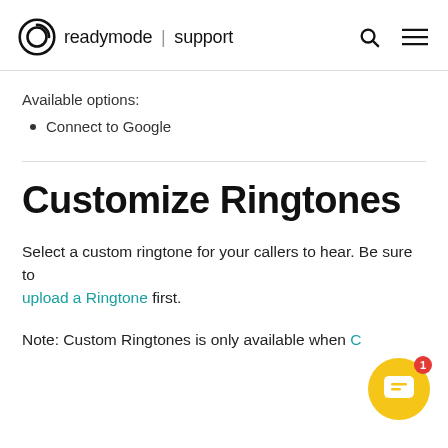readymode | support
Available options:
Connect to Google
Customize Ringtones
Select a custom ringtone for your callers to hear. Be sure to upload a Ringtone first.
Note: Custom Ringtones is only available when...